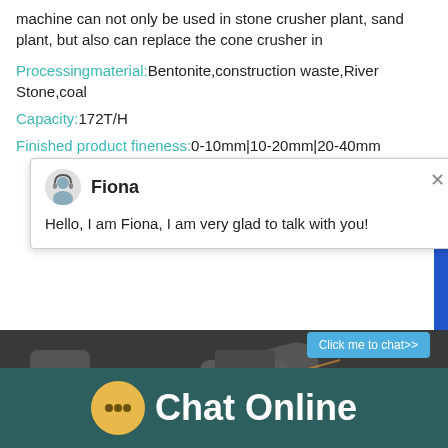machine can not only be used in stone crusher plant, sand plant, but also can replace the cone crusher in
Processingmaterial: Bentonite,construction waste,River Stone,coal
Capacity: 172T/H
Finished product fineness: 0-10mm|10-20mm|20-40mm
[Figure (screenshot): Chat popup with avatar of Fiona, greeting message: Hello, I am Fiona, I am very glad to talk with you!]
[Figure (photo): Industrial stone crusher machinery in a plant setting, with a cone crusher visible on the right]
Chat Online